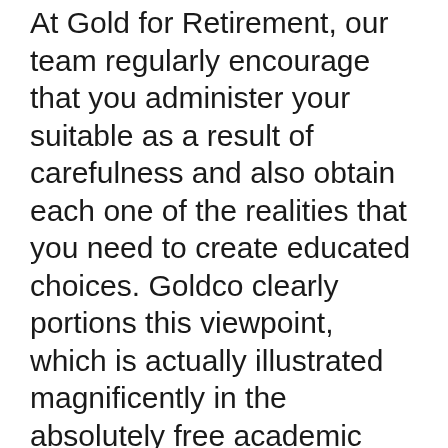At Gold for Retirement, our team regularly encourage that you administer your suitable as a result of carefulness and also obtain each one of the realities that you need to create educated choices. Goldco clearly portions this viewpoint, which is actually illustrated magnificently in the absolutely free academic capitalist packages that they gladly send to all would-be customers who request them.
Through this professional relevant information in hand from those that know the gold markets best, discussed in nonprofessional's conditions, possible and also present consumers can merely make sound financial investment decisions sustained through precise information, not